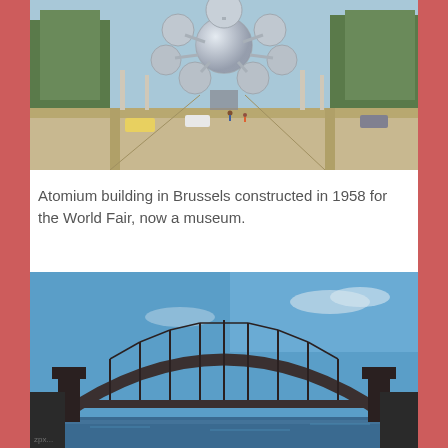[Figure (photo): Photo of the Atomium building in Brussels — large metallic spheres connected by tubes, with a wide avenue leading up to it, trees on either side, vehicles and pedestrians visible.]
Atomium building in Brussels constructed in 1958 for the World Fair, now a museum.
[Figure (photo): Photo of the Sydney Harbour Bridge — a large steel arch bridge silhouetted against a blue sky with light clouds, taken from water level.]